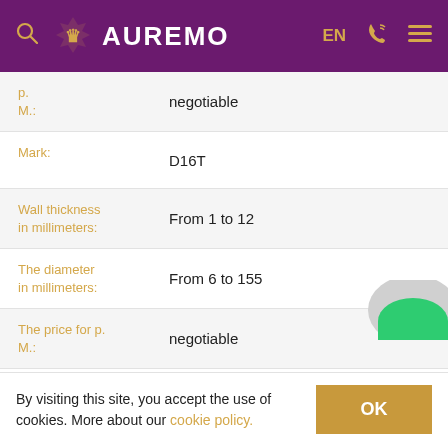AUREMO
| Property | Value |
| --- | --- |
| p. M.: | negotiable |
| Mark: | D16T |
| Wall thickness in millimeters: | From 1 to 12 |
| The diameter in millimeters: | From 6 to 155 |
| The price for p. M.: | negotiable |
| Mark: | D16 |
| Wall thickness in millimeters: | From 1 to 12 |
By visiting this site, you accept the use of cookies. More about our cookie policy.